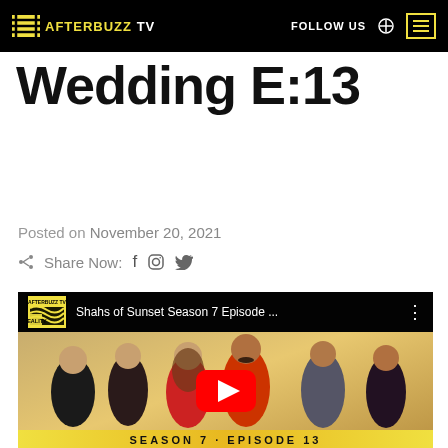AFTERBUZZ TV — FOLLOW US
Wedding E:13
Posted on November 20, 2021
Share Now: f  (instagram)  (twitter)
[Figure (screenshot): YouTube video thumbnail for Shahs of Sunset Season 7 Episode 13, showing cast members posing against a gold background with a YouTube play button overlay and AfterBuzzTV Reality logo in the top-left corner.]